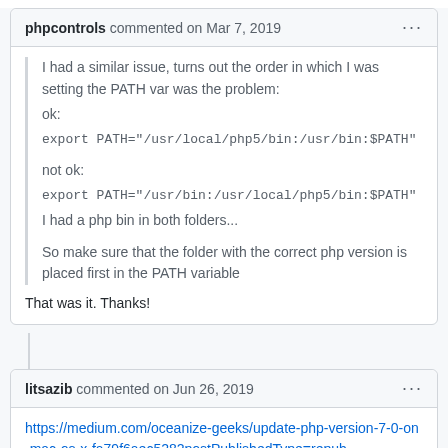phpcontrols commented on Mar 7, 2019
I had a similar issue, turns out the order in which I was setting the PATH var was the problem:
ok:
export PATH="/usr/local/php5/bin:/usr/bin:$PATH"

not ok:
export PATH="/usr/bin:/usr/local/php5/bin:$PATH"
I had a php bin in both folders...

So make sure that the folder with the correct php version is placed first in the PATH variable
That was it. Thanks!
litsazib commented on Jun 26, 2019
https://medium.com/oceanize-geeks/update-php-version-7-0-on-mac-os-x-fa79f6aec5282postPublishedType=repub...